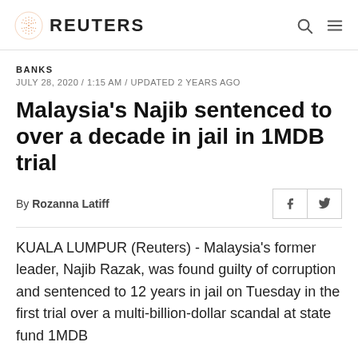REUTERS
BANKS
JULY 28, 2020 / 1:15 AM / UPDATED 2 YEARS AGO
Malaysia's Najib sentenced to over a decade in jail in 1MDB trial
By Rozanna Latiff
KUALA LUMPUR (Reuters) - Malaysia's former leader, Najib Razak, was found guilty of corruption and sentenced to 12 years in jail on Tuesday in the first trial over a multi-billion-dollar scandal at state fund 1MDB